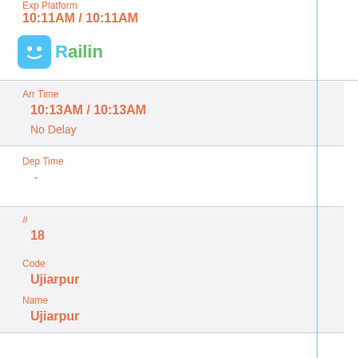Exp Platform
10:11AM / 10:11AM
[Figure (logo): Railin app logo with blue smiling cube icon and Railin text in teal/green]
Arr Time
10:13AM / 10:13AM
No Delay
Dep Time
-
#
18
Code
Ujiarpur
Name
Ujiarpur
Exp Platform
10:26AM / 10:26AM
No Delay
Arr Time
10:28AM / 10:28AM